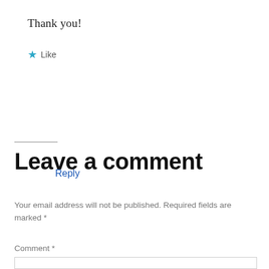Thank you!
★ Like
Reply
Leave a comment
Your email address will not be published. Required fields are marked *
Comment *